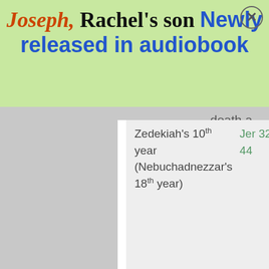[Figure (other): Advertisement banner with green background showing 'Joseph, Rachel's son Newly released in audiobook' with a close button in top right corner]
death a
| Time Period | Reference | Description |
| --- | --- | --- |
| Zedekiah's 10th year (Nebuchadnezzar's 18th year) | Jer 32:1-44 | The wo Lord th Jeremi Nebuc bsieg Jerusa Jeremi court o (Jer 32 Jeremi land in |